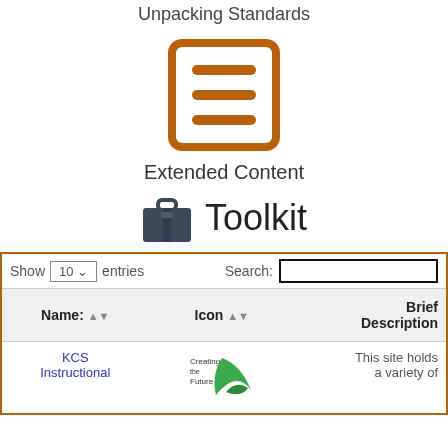Unpacking Standards
[Figure (illustration): Orange square icon with three horizontal lines inside, representing a document or content]
Extended Content
[Figure (illustration): Dark gray briefcase icon next to the word Toolkit]
Toolkit
| Name: | Icon | Brief Description |
| --- | --- | --- |
| KCS Instructional | [Creating the Future logo] | This site holds a variety of |